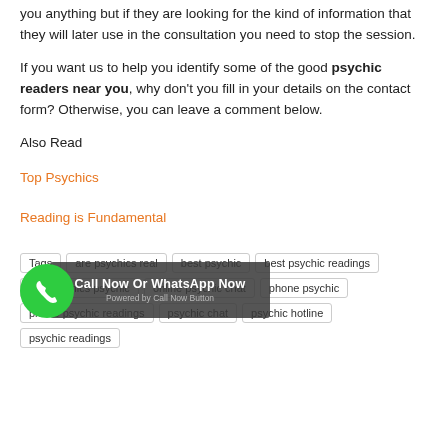you anything but if they are looking for the kind of information that they will later use in the consultation you need to stop the session.
If you want us to help you identify some of the good psychic readers near you, why don't you fill in your details on the contact form? Otherwise, you can leave a comment below.
Also Read
Top Psychics
Reading is Fundamental
Tags: are psychics real  best psychic  best psychic readings  are psychics psychic  online psychic chat  phone psychic  phone psychic readings  psychic chat  psychic hotline  psychic readings  psychic reviews
[Figure (other): Green phone button with Call Now Or WhatsApp Now overlay banner]